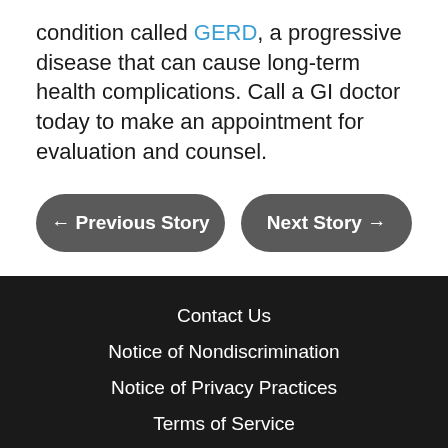condition called GERD, a progressive disease that can cause long-term health complications. Call a GI doctor today to make an appointment for evaluation and counsel.
[Figure (other): Two navigation buttons: '← Previous Story' and 'Next Story →' styled as dark rounded rectangle buttons]
Contact Us
Notice of Nondiscrimination
Notice of Privacy Practices
Terms of Service
Internet Privacy Policy
Billing Disclosure